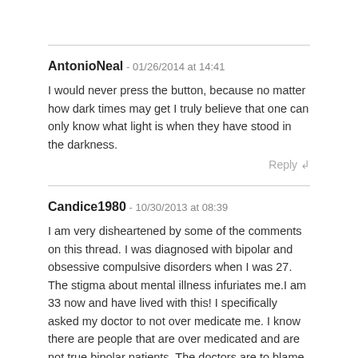AntonioNeal - 01/26/2014 at 14:41
I would never press the button, because no matter how dark times may get I truly believe that one can only know what light is when they have stood in the darkness.
Reply ↲
Candice1980 - 10/30/2013 at 08:39
I am very disheartened by some of the comments on this thread. I was diagnosed with bipolar and obsessive compulsive disorders when I was 27. The stigma about mental illness infuriates me.I am 33 now and have lived with this! I specifically asked my doctor to not over medicate me. I know there are people that are over medicated and are not true bipolar patients. The doctors are to blame because they are treating specific symptoms.